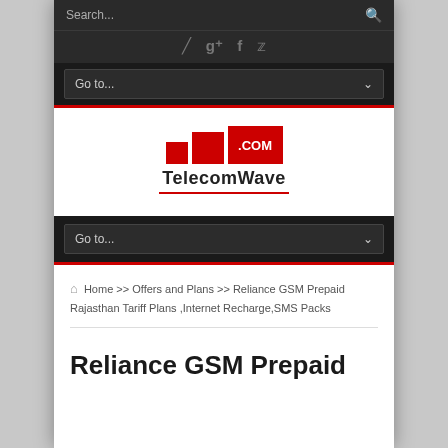Search...
[Figure (logo): TelecomWave.com logo with red bar chart icon and text]
Go to...
Home >> Offers and Plans >> Reliance GSM Prepaid Rajasthan Tariff Plans ,Internet Recharge,SMS Packs
Reliance GSM Prepaid